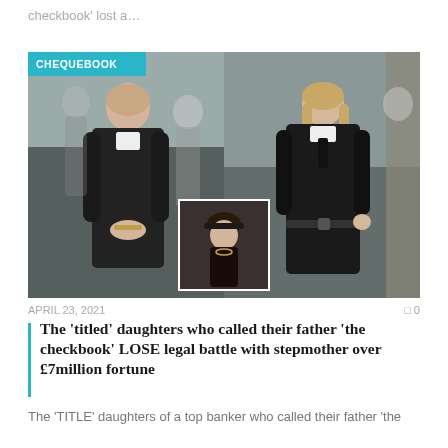checkbook’ lost a…
[Figure (photo): Composite of two women in black coats outside a court building, with a smaller inset photo of a third woman in a black hat. A teal 'CHEQUEBOOK' label overlays the top-left corner.]
APRIL 23, 2021
The ‘titled’ daughters who called their father ‘the checkbook’ LOSE legal battle with stepmother over £7million fortune
The ‘TITLE’ daughters of a top banker who called their father ‘the